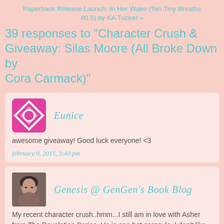Paperback Release Launch: In Her Wake (Ten Tiny Breaths #0.5) by KA Tucker »
39 responses to "Character Crush & Giveaway: Silas Moore (All Broke Down by Cora Carmack)"
Eunice
awesome giveaway! Good luck everyone! <3
february 9, 2015, 3:43 pm
Genesis @ GenGen's Book Blog
My recent character crush..hmm...I still am in love with Asher from The Revelation Series. He is one hot gargoyle. I don't like gargoyles but I make an exception for Asher..plus he is my book boyfriend #1!
february 9, 2015, 4:22 pm